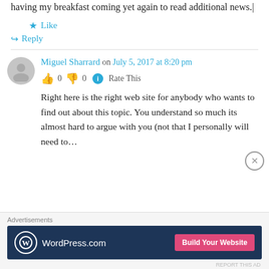having my breakfast coming yet again to read additional news.|
★ Like
↪ Reply
Miguel Sharrard on July 5, 2017 at 8:20 pm
👍 0 👎 0 ℹ Rate This
Right here is the right web site for anybody who wants to find out about this topic. You understand so much its almost hard to argue with you (not that I personally will need to…
Advertisements
[Figure (screenshot): WordPress.com advertisement banner with dark blue background, WordPress logo, and pink 'Build Your Website' button]